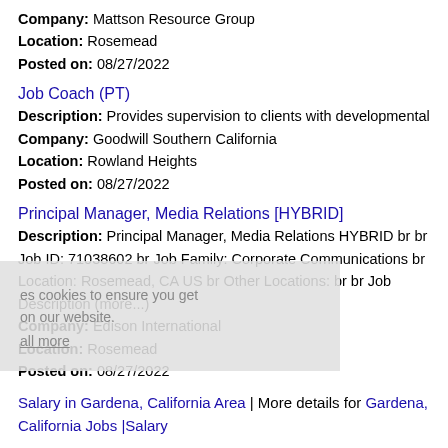Company: Mattson Resource Group
Location: Rosemead
Posted on: 08/27/2022
Job Coach (PT)
Description: Provides supervision to clients with developmental
Company: Goodwill Southern California
Location: Rowland Heights
Posted on: 08/27/2022
Principal Manager, Media Relations [HYBRID]
Description: Principal Manager, Media Relations HYBRID br br Job ID: 71038602 br Job Family: Corporate Communications br Location: Rosemead, CA US br Other Locations: br br Job Description (more...)
Company: Edison International
Location: Rosemead
Posted on: 08/27/2022
Salary in Gardena, California Area | More details for Gardena, California Jobs |Salary
Senior Systems Engineering Lead
Description: Job Description At Boeing, we innovate and